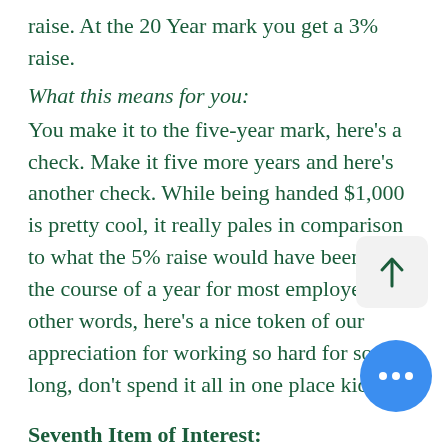raise. At the 20 Year mark you get a 3% raise.
What this means for you:
You make it to the five-year mark, here’s a check. Make it five more years and here’s another check. While being handed $1,000 is pretty cool, it really pales in comparison to what the 5% raise would have been over the course of a year for most employees. In other words, here’s a nice token of our appreciation for working so hard for so long, don’t spend it all in one place kid.
Seventh Item of Interest:
Article 51 – Volunteer Day:
A pilot program allowing you take paid day per year and volunteer somewhere approved by the